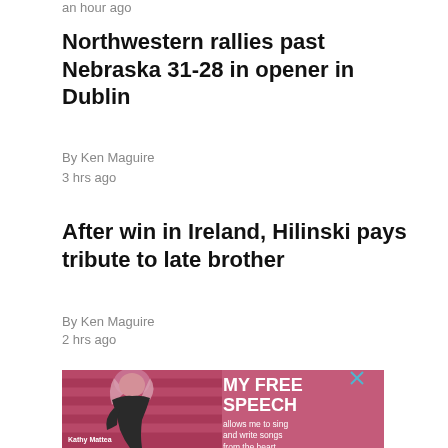an hour ago
Northwestern rallies past Nebraska 31-28 in opener in Dublin
By Ken Maguire
3 hrs ago
After win in Ireland, Hilinski pays tribute to late brother
By Ken Maguire
2 hrs ago
[Figure (photo): Advertisement featuring a woman (Kathy Mattea) with text 'MY FREE SPEECH allows me to sing and write songs from the heart.' with a pink/red duotone photo treatment]